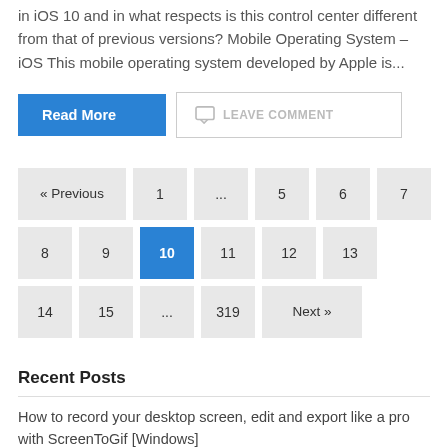in iOS 10 and in what respects is this control center different from that of previous versions? Mobile Operating System – iOS This mobile operating system developed by Apple is...
Read More
LEAVE COMMENT
« Previous  1  ...  5  6  7  8  9  10  11  12  13  14  15  ...  319  Next »
Recent Posts
How to record your desktop screen, edit and export like a pro with ScreenToGif [Windows]